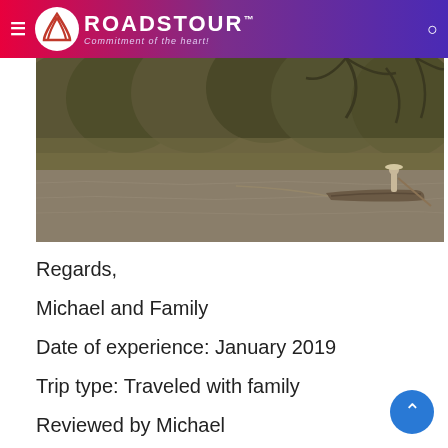ROADSTOUR — Commitment of the heart!
[Figure (photo): A person standing on a wooden boat, poling/rowing along a river or canal, with dense tropical jungle vegetation in the background. Sepia-toned photograph.]
Regards,
Michael and Family
Date of experience: January 2019
Trip type: Traveled with family
Reviewed by Michael